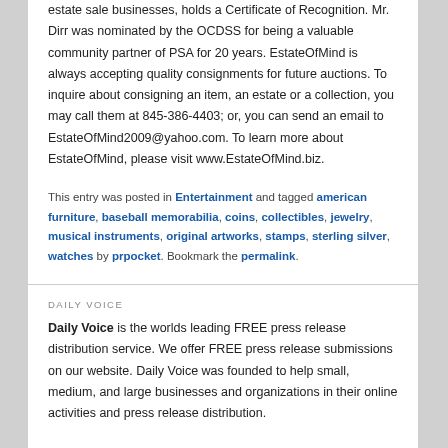estate sale businesses, holds a Certificate of Recognition. Mr. Dirr was nominated by the OCDSS for being a valuable community partner of PSA for 20 years. EstateOfMind is always accepting quality consignments for future auctions. To inquire about consigning an item, an estate or a collection, you may call them at 845-386-4403; or, you can send an email to EstateOfMind2009@yahoo.com. To learn more about EstateOfMind, please visit www.EstateOfMind.biz.
This entry was posted in Entertainment and tagged american furniture, baseball memorabilia, coins, collectibles, jewelry, musical instruments, original artworks, stamps, sterling silver, watches by prpocket. Bookmark the permalink.
DAILY VOICE
Daily Voice is the worlds leading FREE press release distribution service. We offer FREE press release submissions on our website. Daily Voice was founded to help small, medium, and large businesses and organizations in their online activities and press release distribution.